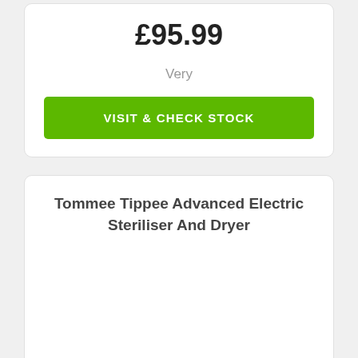£95.99
Very
VISIT & CHECK STOCK
Tommee Tippee Advanced Electric Steriliser And Dryer